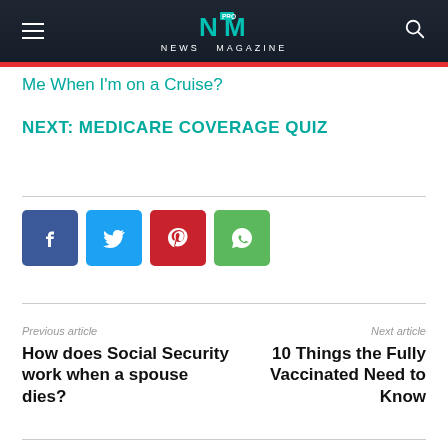NEWS MAGAZINE
Me When I'm on a Cruise?
NEXT: MEDICARE COVERAGE QUIZ
[Figure (infographic): Social share buttons: Facebook (blue), Twitter (light blue), Pinterest (red), WhatsApp (green)]
Previous article
How does Social Security work when a spouse dies?
Next article
10 Things the Fully Vaccinated Need to Know